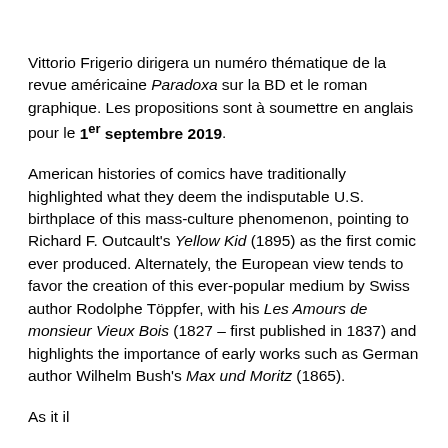Vittorio Frigerio dirigera un numéro thématique de la revue américaine Paradoxa sur la BD et le roman graphique. Les propositions sont à soumettre en anglais pour le 1er septembre 2019.
American histories of comics have traditionally highlighted what they deem the indisputable U.S. birthplace of this mass-culture phenomenon, pointing to Richard F. Outcault's Yellow Kid (1895) as the first comic ever produced. Alternately, the European view tends to favor the creation of this ever-popular medium by Swiss author Rodolphe Töppfer, with his Les Amours de monsieur Vieux Bois (1827 – first published in 1837) and highlights the importance of early works such as German author Wilhelm Bush's Max und Moritz (1865).
As it il...